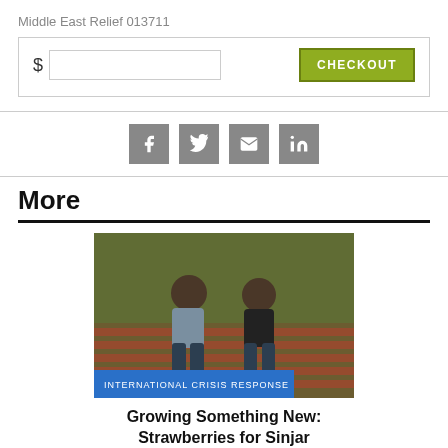Middle East Relief 013711
[Figure (screenshot): Donation input field with dollar sign text box and green CHECKOUT button]
[Figure (infographic): Social sharing icons: Facebook, Twitter, Email, LinkedIn in grey square buttons]
More
[Figure (photo): Two men crouching over rows of strawberries outdoors with blue badge reading INTERNATIONAL CRISIS RESPONSE]
Growing Something New: Strawberries for Sinjar